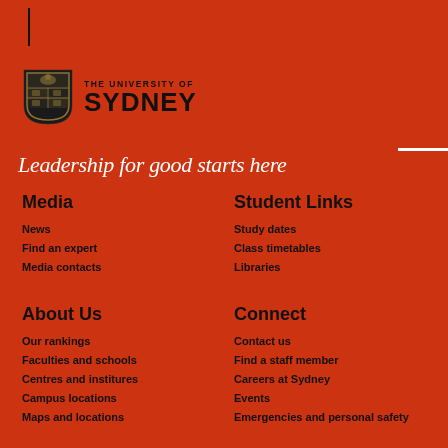[Figure (logo): University of Sydney shield logo with text 'THE UNIVERSITY OF SYDNEY']
Leadership for good starts here
Media
News
Find an expert
Media contacts
Student Links
Study dates
Class timetables
Libraries
About Us
Our rankings
Faculties and schools
Centres and institures
Campus locations
Maps and locations
Connect
Contact us
Find a staff member
Careers at Sydney
Events
Emergencies and personal safety